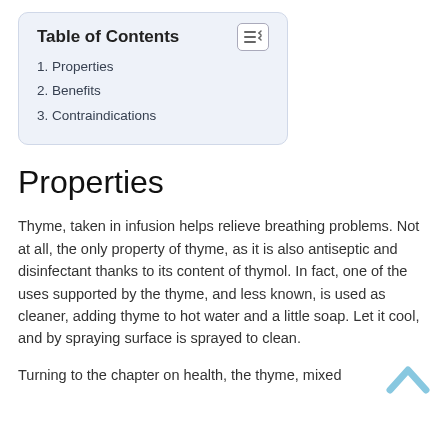Table of Contents
1. Properties
2. Benefits
3. Contraindications
Properties
Thyme, taken in infusion helps relieve breathing problems. Not at all, the only property of thyme, as it is also antiseptic and disinfectant thanks to its content of thymol. In fact, one of the uses supported by the thyme, and less known, is used as cleaner, adding thyme to hot water and a little soap. Let it cool, and by spraying surface is sprayed to clean.
Turning to the chapter on health, the thyme, mixed